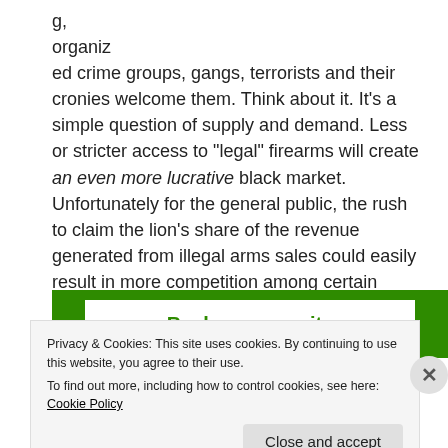g,
organiz
ed crime groups, gangs, terrorists and their cronies welcome them. Think about it. It's a simple question of supply and demand. Less or stricter access to "legal" firearms will create an even more lucrative black market. Unfortunately for the general public, the rush to claim the lion's share of the revenue generated from illegal arms sales could easily result in more competition among certain people who couldn't care less about who gets caught in the crossfire.
[Figure (other): Green banner with white inner box containing bold green text 'Back up your site']
Privacy & Cookies: This site uses cookies. By continuing to use this website, you agree to their use.
To find out more, including how to control cookies, see here: Cookie Policy
Close and accept